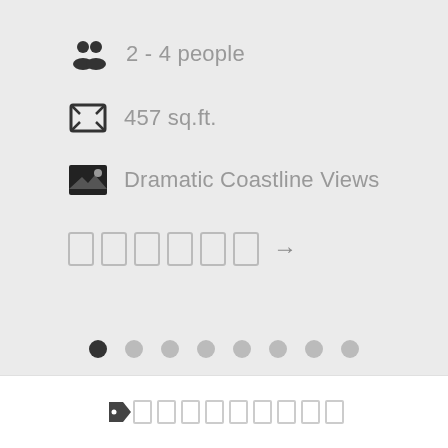2 - 4 people
457 sq.ft.
Dramatic Coastline Views
[Figure (infographic): Pagination dots row with 8 dots, first dot filled dark, rest light gray]
[Figure (infographic): Bottom bar with tag icon and placeholder text blocks]